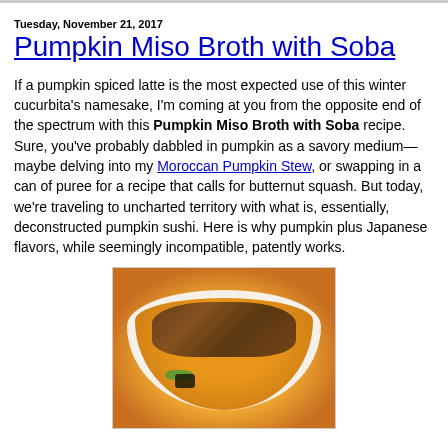Tuesday, November 21, 2017
Pumpkin Miso Broth with Soba
If a pumpkin spiced latte is the most expected use of this winter cucurbita's namesake, I'm coming at you from the opposite end of the spectrum with this Pumpkin Miso Broth with Soba recipe. Sure, you've probably dabbled in pumpkin as a savory medium—maybe delving into my Moroccan Pumpkin Stew, or swapping in a can of puree for a recipe that calls for butternut squash. But today, we're traveling to uncharted territory with what is, essentially, deconstructed pumpkin sushi. Here is why pumpkin plus Japanese flavors, while seemingly incompatible, patently works.
[Figure (photo): A white bowl filled with orange pumpkin miso broth topped with soba noodles, mushrooms, green onions, and seaweed pieces]